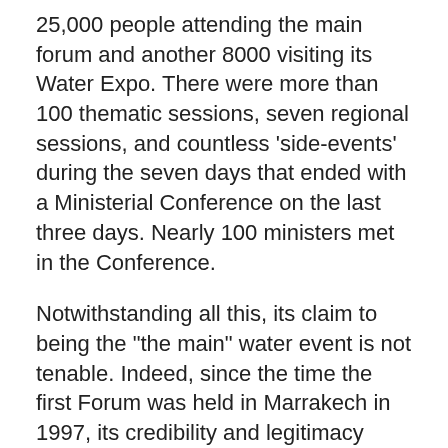25,000 people attending the main forum and another 8000 visiting its Water Expo. There were more than 100 thematic sessions, seven regional sessions, and countless 'side-events' during the seven days that ended with a Ministerial Conference on the last three days. Nearly 100 ministers met in the Conference.
Notwithstanding all this, its claim to being the "the main" water event is not tenable. Indeed, since the time the first Forum was held in Marrakech in 1997, its credibility and legitimacy have been on the decline, and stand severely eroded.
There are several reasons for this. The World Water Council, which organises the forums, counts among its members many big corporations active in the water sector, and builders and promoters of large dams including professional and governmental agencies. The governance